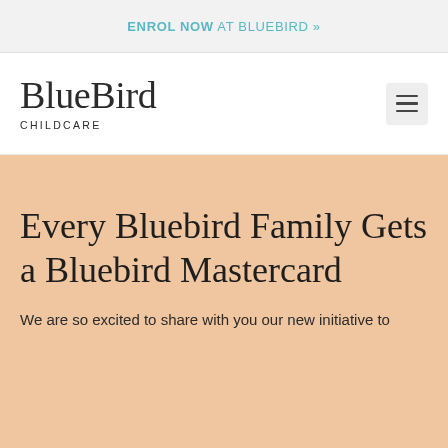ENROL NOW AT BLUEBIRD »
[Figure (logo): BlueBird Childcare logo with serif wordmark and CHILDCARE subtitle in spaced capitals]
Every Bluebird Family Gets a Bluebird Mastercard
We are so excited to share with you our new initiative to